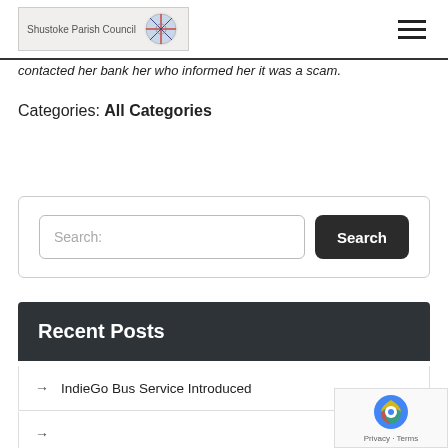Shustoke Parish Council
contacted her bank her who informed her it was a scam.
Categories: All Categories
[Figure (screenshot): Search input box with Search button]
Recent Posts
→ IndieGo Bus Service Introduced